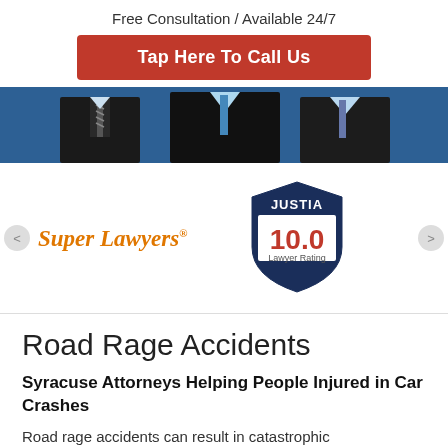Free Consultation / Available 24/7
Tap Here To Call Us
[Figure (photo): Two attorneys in dark suits with ties against a blue background]
[Figure (logo): Super Lawyers logo in orange italic text]
[Figure (logo): Justia 10.0 Lawyer Rating shield badge in navy blue with red 10.0]
Road Rage Accidents
Syracuse Attorneys Helping People Injured in Car Crashes
Road rage accidents can result in catastrophic